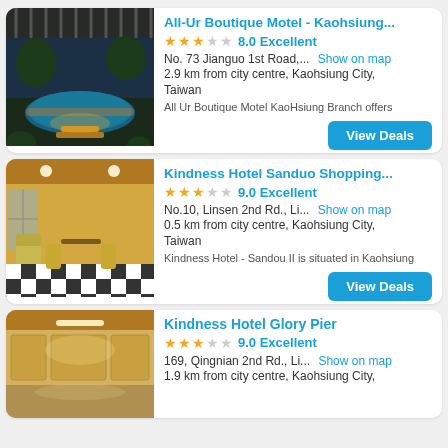All-Ur Boutique Motel - Kaohsiung...
8.0 Excellent
No. 73 Jianguo 1st Road,... Show on map
2.9 km from city centre, Kaohsiung City, Taiwan
All Ur Boutique Motel KaoHsiung Branch offers
Kindness Hotel Sanduo Shopping...
9.0 Excellent
No.10, Linsen 2nd Rd., Li... Show on map
0.5 km from city centre, Kaohsiung City, Taiwan
Kindness Hotel - Sandou II is situated in Kaohsiung
Kindness Hotel Glory Pier
9.0 Excellent
169, Qingnian 2nd Rd., Li... Show on map
1.9 km from city centre, Kaohsiung City,